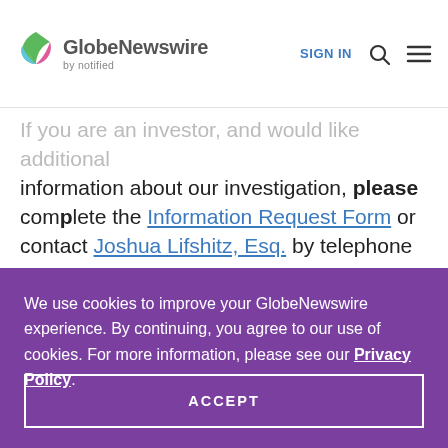GlobeNewswire by notified | SIGN IN
If you are an investor, and would like additional information about our investigation, please complete the Information Request Form or contact Joshua Lifshitz, Esq. by telephone at
We use cookies to improve your GlobeNewswire experience. By continuing, you agree to our use of cookies. For more information, please see our Privacy Policy.
ACCEPT